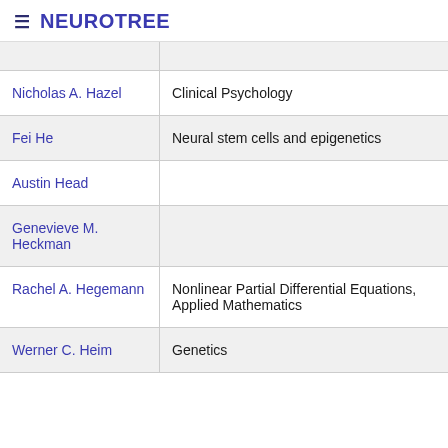≡ NEUROTREE
| Name | Field |
| --- | --- |
|  |  |
| Nicholas A. Hazel | Clinical Psychology |
| Fei He | Neural stem cells and epigenetics |
| Austin Head |  |
| Genevieve M. Heckman |  |
| Rachel A. Hegemann | Nonlinear Partial Differential Equations, Applied Mathematics |
| Werner C. Heim | Genetics |